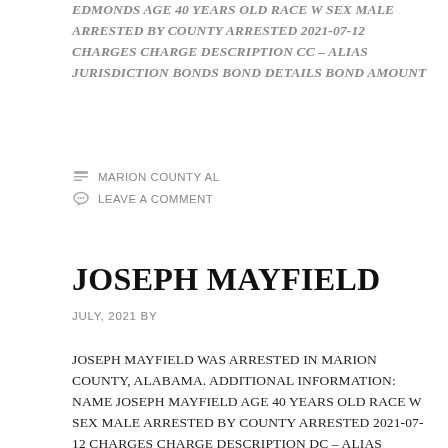EDMONDS AGE 40 YEARS OLD RACE W SEX MALE ARRESTED BY COUNTY ARRESTED 2021-07-12 CHARGES CHARGE DESCRIPTION CC – ALIAS JURISDICTION BONDS BOND DETAILS BOND AMOUNT
MARION COUNTY AL
LEAVE A COMMENT
JOSEPH MAYFIELD
JULY, 2021 BY
JOSEPH MAYFIELD WAS ARRESTED IN MARION COUNTY, ALABAMA. ADDITIONAL INFORMATION: NAME JOSEPH MAYFIELD AGE 40 YEARS OLD RACE W SEX MALE ARRESTED BY COUNTY ARRESTED 2021-07-12 CHARGES CHARGE DESCRIPTION DC – ALIAS JURISDICTION BONDS BOND DETAILS BOND AMOUNT